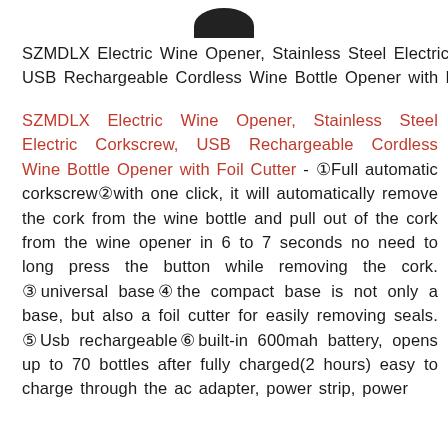[Figure (photo): Partial top view of a black electric wine opener device, showing the cap/top portion against a white background]
SZMDLX Electric Wine Opener, Stainless Steel Electric C USB Rechargeable Cordless Wine Bottle Opener with F
SZMDLX Electric Wine Opener, Stainless Steel Electric Corkscrew, USB Rechargeable Cordless Wine Bottle Opener with Foil Cutter - ①Full automatic corkscrew②with one click, it will automatically remove the cork from the wine bottle and pull out of the cork from the wine opener in 6 to 7 seconds no need to long press the button while removing the cork. ③universal base④the compact base is not only a base, but also a foil cutter for easily removing seals. ⑤Usb rechargeable⑥built-in 600mah battery, opens up to 70 bottles after fully charged(2 hours) easy to charge through the ac adapter, power strip, power